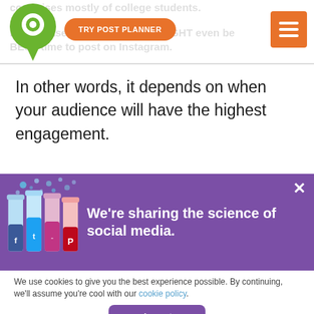comprises mostly of college students.
[Figure (logo): Post Planner green map pin logo]
TRY POST PLANNER
In this case, midnight or later MIGHT even be the BEST time to post on Instagram.
In other words, it depends on when your audience will have the highest engagement.
[Figure (illustration): Purple banner with illustrated test tubes containing social media logos (Facebook, Twitter, Instagram, Pinterest) with bubbles floating above them]
We're sharing the science of social media.
We use cookies to give you the best experience possible. By continuing, we'll assume you're cool with our cookie policy.
Accept